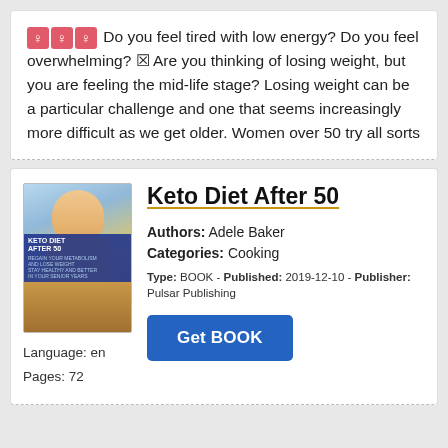♀♀♀ Do you feel tired with low energy? Do you feel overwhelming? ☑ Are you thinking of losing weight, but you are feeling the mid-life stage? Losing weight can be a particular challenge and one that seems increasingly more difficult as we get older. Women over 50 try all sorts
[Figure (photo): Book cover of 'Keto Diet After 50' showing a person in a yellow apron with food images]
Keto Diet After 50
Authors: Adele Baker
Categories: Cooking
Type: BOOK - Published: 2019-12-10 - Publisher: Pulsar Publishing
Language: en
Pages: 72